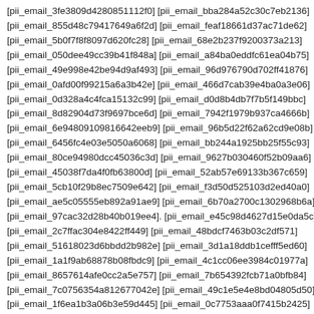[pii_email_3fe3809d4280851112f0] [pii_email_bba284a52c30c7eb2136]
[pii_email_855d48c79417649a6f2d] [pii_email_feaf18661d37ac71de62]
[pii_email_5b0f7f8f8097d620fc28] [pii_email_68e2b237f9200373a213]
[pii_email_050dee49cc39b41f848a] [pii_email_a84ba0eddfc61ea04b75]
[pii_email_49e998e42be94d9af493] [pii_email_96d976790d702ff41876]
[pii_email_0afd00f99215a6a3b42e] [pii_email_466d7cab39e4ba0a3e06]
[pii_email_0d328a4c4fca15132c99] [pii_email_d0d8b4db7f7b5f149bbc]
[pii_email_8d82904d73f9697bce6d] [pii_email_7942f1979b937ca4666b]
[pii_email_6e94809109816642eeb9] [pii_email_96b5d22f62a62cd9e08b]
[pii_email_6456fc4e03e5050a6068] [pii_email_bb244a1925bb25f55c93]
[pii_email_80ce94980dcc45036c3d] [pii_email_9627b030460f52b09aa6]
[pii_email_45038f7da4f0fb63800d] [pii_email_52ab57e69133b367c659]
[pii_email_5cb10f29b8ec7509e642] [pii_email_f3d50d525103d2ed40a0]
[pii_email_ae5c05555eb892a91ae9] [pii_email_6b70a2700c1302968b6a]
[pii_email_97cac32d28b40b019ee4]. [pii_email_e45c98d4627d15e0da5c]
[pii_email_2c7ffac304e8422ff449] [pii_email_48bdcf7463b03c2df571]
[pii_email_51618023d6bbdd2b982e] [pii_email_3d1a18ddb1cefff5ed60]
[pii_email_1a1f9ab68878b08fbdc9] [pii_email_4c1cc06ee3984c01977a]
[pii_email_8657614afe0cc2a5e757] [pii_email_7b654392fcb71a0bfb84]
[pii_email_7c0756354a812677042e] [pii_email_49c1e5e4e8bd04805d50]
[pii_email_1f6ea1b3a06b3e59d445] [pii_email_0c7753aaa0f7415b2425]
[pii_email_ef23ab3d8441fc22d7ee] [pii_email_55e1fa3cbc326a3ee64e]
[pii_email_...] [pii_email_...]